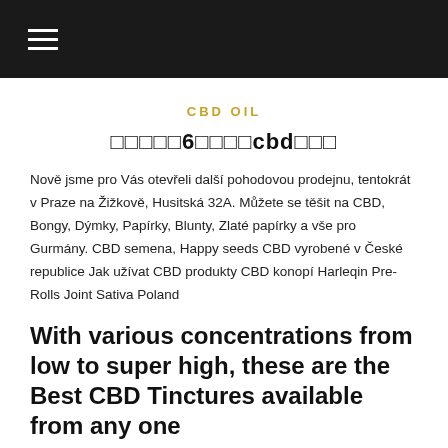☰
CBD OIL
□□□□□6□□□□cbd□□□
Nově jsme pro Vás otevřeli další pohodovou prodejnu, tentokrát v Praze na Žižkově, Husitská 32A. Můžete se těšit na CBD, Bongy, Dýmky, Papírky, Blunty, Zlaté papírky a vše pro Gurmány. CBD semena, Happy seeds CBD vyrobené v České republice Jak užívat CBD produkty CBD konopí Harleqin Pre-Rolls Joint Sativa Poland
With various concentrations from low to super high, these are the Best CBD Tinctures available from any one